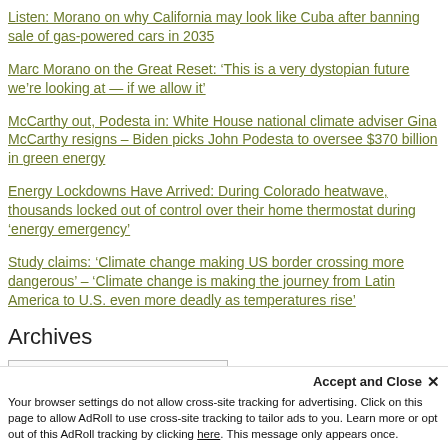Listen: Morano on why California may look like Cuba after banning sale of gas-powered cars in 2035
Marc Morano on the Great Reset: ‘This is a very dystopian future we’re looking at — if we allow it’
McCarthy out, Podesta in: White House national climate adviser Gina McCarthy resigns – Biden picks John Podesta to oversee $370 billion in green energy
Energy Lockdowns Have Arrived: During Colorado heatwave, thousands locked out of control over their home thermostat during ‘energy emergency’
Study claims: ‘Climate change making US border crossing more dangerous’ – ‘Climate change is making the journey from Latin America to U.S. even more deadly as temperatures rise’
Archives
Select Month
Your browser settings do not allow cross-site tracking for advertising. Click on this page to allow AdRoll to use cross-site tracking to tailor ads to you. Learn more or opt out of this AdRoll tracking by clicking here. This message only appears once.